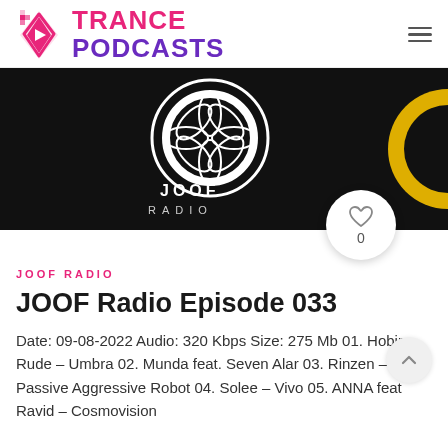TRANCE PODCASTS
[Figure (screenshot): JOOF Radio banner image — black background with white geometric lotus/mandala circle symbol and 'JOOF RADIO' text in white, yellow arc on right side. Circular white heart/like button overlay bottom-right showing heart icon and count 0.]
JOOF RADIO
JOOF Radio Episode 033
Date: 09-08-2022 Audio: 320 Kbps Size: 275 Mb 01. Hobin Rude – Umbra 02. Munda feat. Seven Alar 03. Rinzen – Passive Aggressive Robot 04. Solee – Vivo 05. ANNA feat Ravid – Cosmovision